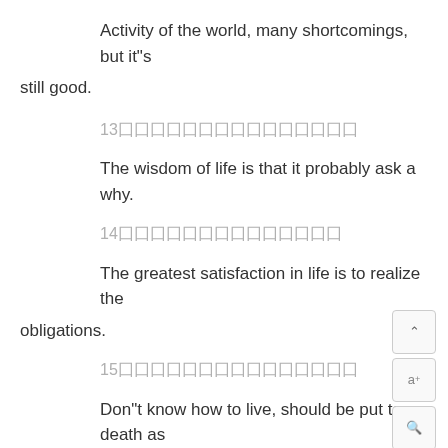Activity of the world, many shortcomings, but it"s still good.
13囗囗囗囗囗囗囗囗囗囗囗囗囗囗囗
The wisdom of life is that it probably ask a why.
14囗囗囗囗囗囗囗囗囗囗囗囗囗囗
The greatest satisfaction in life is to realize the obligations.
15囗囗囗囗囗囗囗囗囗囗囗囗囗囗囗
Don"t know how to live, should be put to death as good thing.
16囗囗囗囗囗囗囗囗囗囗囗囗囗囗囗囗